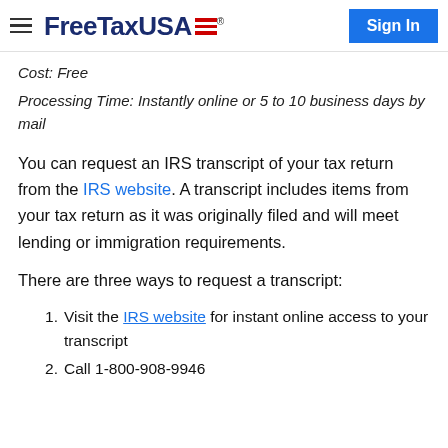FreeTaxUSA® Sign In
Cost: Free
Processing Time: Instantly online or 5 to 10 business days by mail
You can request an IRS transcript of your tax return from the IRS website. A transcript includes items from your tax return as it was originally filed and will meet lending or immigration requirements.
There are three ways to request a transcript:
Visit the IRS website for instant online access to your transcript
Call 1-800-908-9946